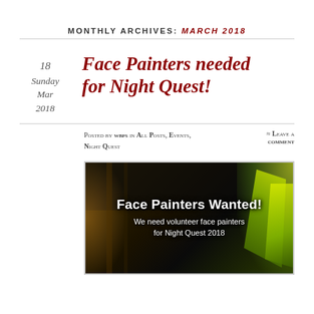MONTHLY ARCHIVES: MARCH 2018
18
Sunday
Mar
2018
Face Painters needed for Night Quest!
Posted by wbps in All Posts, Events, Night Quest ≈ Leave a comment
[Figure (photo): Dark event photo with glowing yellow-green light on right side and warm amber light on left. Overlaid text reads: 'Face Painters Wanted! We need volunteer face painters for Night Quest 2018']